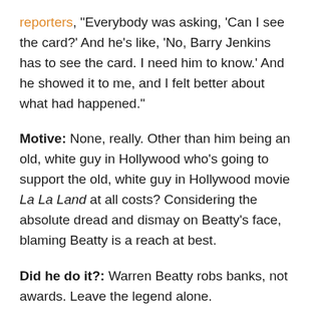reporters, "Everybody was asking, 'Can I see the card?' And he's like, 'No, Barry Jenkins has to see the card. I need him to know.' And he showed it to me, and I felt better about what had happened."
Motive: None, really. Other than him being an old, white guy in Hollywood who's going to support the old, white guy in Hollywood movie La La Land at all costs? Considering the absolute dread and dismay on Beatty's face, blaming Beatty is a reach at best.
Did he do it?: Warren Beatty robs banks, not awards. Leave the legend alone.
Leonardo DiCaprio